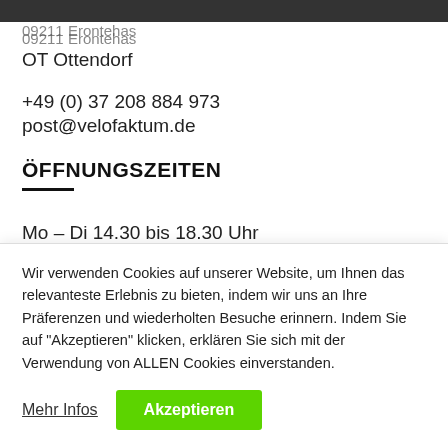09211 Erontehas
OT Ottendorf
+49 (0) 37 208 884 973
post@velofaktum.de
ÖFFNUNGSZEITEN
Mo – Di 14.30 bis 18.30 Uhr
Wir verwenden Cookies auf unserer Website, um Ihnen das relevanteste Erlebnis zu bieten, indem wir uns an Ihre Präferenzen und wiederholten Besuche erinnern. Indem Sie auf "Akzeptieren" klicken, erklären Sie sich mit der Verwendung von ALLEN Cookies einverstanden.
Mehr Infos | Akzeptieren